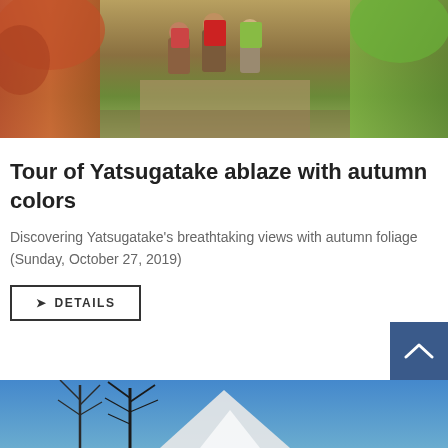[Figure (photo): Hikers with backpacks walking through autumn foliage forest trail, seen from behind]
Tour of Yatsugatake ablaze with autumn colors
Discovering Yatsugatake's breathtaking views with autumn foliage
(Sunday, October 27, 2019)
❯ DETAILS
[Figure (photo): Winter or late autumn mountain landscape with bare birch trees against blue sky and snow-capped mountains]